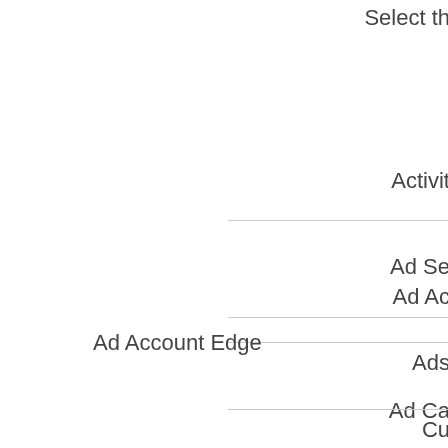Select th…
Activit…
Ad Ac…
Ad Ca…
Ad Se…
Ad Account Edge
Ads
Cu…